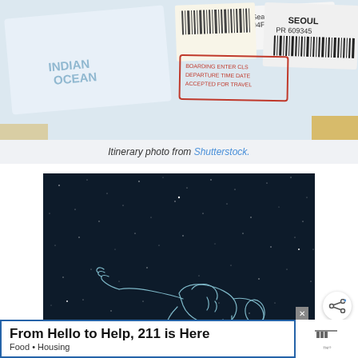[Figure (photo): Itinerary photo showing travel boarding passes, baggage tags with barcodes including SEOUL text, and a stamp on a light blue background]
Itinerary photo from Shutterstock.
[Figure (illustration): Dark navy blue night sky background with white dots resembling stars, featuring a white line-art illustration of an astronaut or skydiver floating horizontally in the center]
From Hello to Help, 211 is Here
Food • Housing